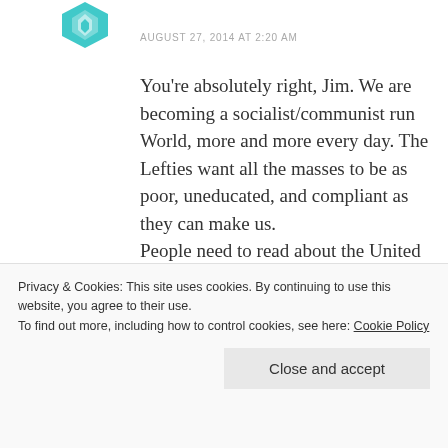[Figure (logo): Teal/cyan geometric avatar icon (user profile image)]
AUGUST 27, 2014 AT 2:20 AM
You're absolutely right, Jim. We are becoming a socialist/communist run World, more and more every day. The Lefties want all the masses to be as poor, uneducated, and compliant as they can make us.
People need to read about the United Nation's Agenda 21. Many are so afraid of the truth, that they refuse to accept that
Privacy & Cookies: This site uses cookies. By continuing to use this website, you agree to their use.
To find out more, including how to control cookies, see here: Cookie Policy
Close and accept